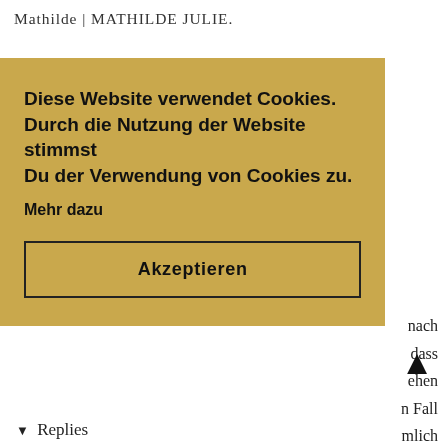Mathilde | MATHILDE JULIE.
nach
dass
ehen
n Fall
mlich
[Figure (screenshot): Cookie consent overlay banner with golden/tan background. Contains bold text: 'Diese Website verwendet Cookies. Durch die Nutzung der Website stimmst Du der Verwendung von Cookies zu.' followed by 'Mehr dazu' link and an 'Akzeptieren' (Accept) button with dark border.]
richtig toll geworden: :)
Liebste Grüße,
Lisa von Ash Blonde
>> Hier geht's zu meinem letzten Post!
REPLY
▼ Replies